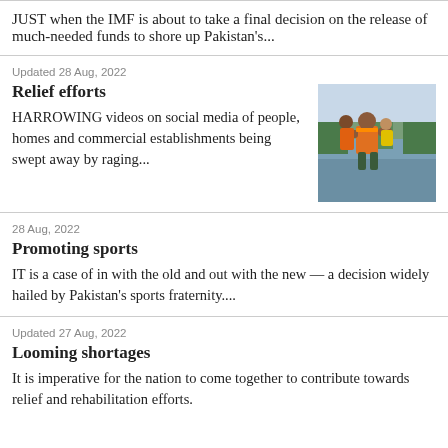JUST when the IMF is about to take a final decision on the release of much-needed funds to shore up Pakistan's...
Updated 28 Aug, 2022
Relief efforts
HARROWING videos on social media of people, homes and commercial establishments being swept away by raging...
[Figure (photo): Rescue workers in orange vests carrying children through floodwaters]
28 Aug, 2022
Promoting sports
IT is a case of in with the old and out with the new — a decision widely hailed by Pakistan's sports fraternity....
Updated 27 Aug, 2022
Looming shortages
It is imperative for the nation to come together to contribute towards relief and rehabilitation efforts.